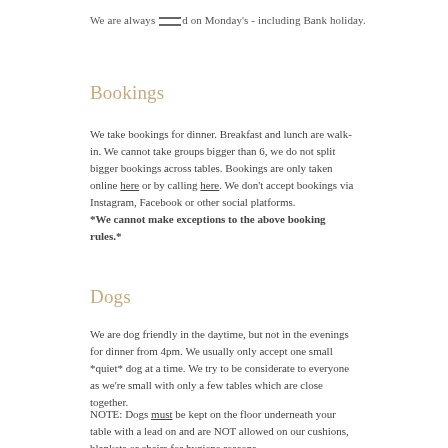We are always [closed] on Monday's - including Bank holiday.
Bookings
We take bookings for dinner. Breakfast and lunch are walk-in. We cannot take groups bigger than 6, we do not split bigger bookings across tables. Bookings are only taken online here or by calling here. We don't accept bookings via Instagram, Facebook or other social platforms.
*We cannot make exceptions to the above booking rules.*
Dogs
We are dog friendly in the daytime, but not in the evenings for dinner from 4pm. We usually only accept one small *quiet* dog at a time. We try to be considerate to everyone as we're small with only a few tables which are close together.
NOTE: Dogs must be kept on the floor underneath your table with a lead on and are NOT allowed on our cushions, blankets or chairs for hygiene reasons.